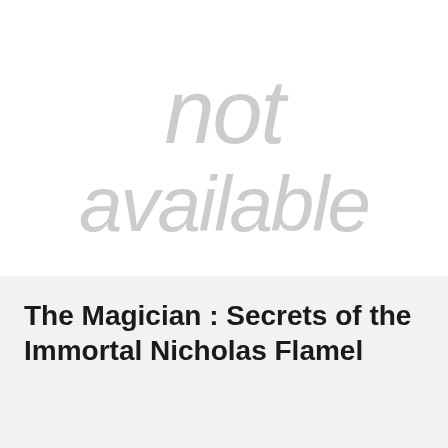[Figure (other): Watermark placeholder text reading 'not available' in large light gray italic letters on white background]
The Magician : Secrets of the Immortal Nicholas Flamel